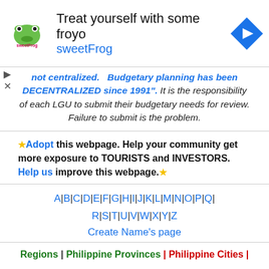[Figure (other): sweetFrog advertisement banner: logo with sweetFrog branding, text 'Treat yourself with some froyo' and 'sweetFrog', blue navigation arrow icon on right, play and close controls on left]
not centralized. Budgetary planning has been DECENTRALIZED since 1991". It is the responsibility of each LGU to submit their budgetary needs for review. Failure to submit is the problem.
★Adopt this webpage. Help your community get more exposure to TOURISTS and INVESTORS. Help us improve this webpage.★
A | B | C | D | E | F | G | H | I | J | K | L | M | N | O | P | Q | R | S | T | U | V | W | X | Y | Z
Create Name's page
Regions | Philippine Provinces | Philippine Cities |